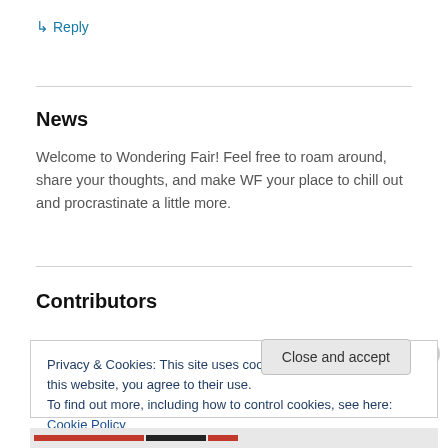↳ Reply
News
Welcome to Wondering Fair! Feel free to roam around, share your thoughts, and make WF your place to chill out and procrastinate a little more.
Contributors
Privacy & Cookies: This site uses cookies. By continuing to use this website, you agree to their use.
To find out more, including how to control cookies, see here: Cookie Policy
Close and accept